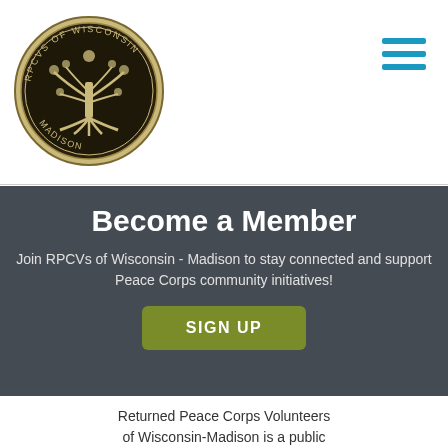[Figure (logo): Circular seal/logo of RPCVs of Wisconsin-Madison featuring a tree with roots and text around the border, gold and dark tones]
[Figure (other): Hamburger menu icon with three horizontal teal/blue bars]
Become a Member
Join RPCVs of Wisconsin - Madison to stay connected and support Peace Corps community initiatives!
SIGN UP
Returned Peace Corps Volunteers of Wisconsin-Madison is a public